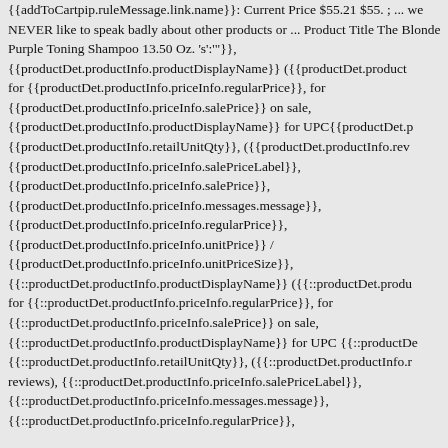{{addToCartpip.ruleMessage.link.name}}: Current Price $55.21 $55. ; ... we NEVER like to speak badly about other products or ... Product Title The Blonde Purple Toning Shampoo 13.50 Oz. 's':'}}, {{productDet.productInfo.productDisplayName}} ({{productDet.productInfo... for {{productDet.productInfo.priceInfo.regularPrice}}, for {{productDet.productInfo.priceInfo.salePrice}} on sale, {{productDet.productInfo.productDisplayName}} for UPC{{productDet.productInfo... {{productDet.productInfo.retailUnitQty}}, ({{productDet.productInfo.rev... {{productDet.productInfo.priceInfo.salePriceLabel}}, {{productDet.productInfo.priceInfo.salePrice}}, {{productDet.productInfo.priceInfo.messages.message}}, {{productDet.productInfo.priceInfo.regularPrice}}, {{productDet.productInfo.priceInfo.unitPrice}} / {{productDet.productInfo.priceInfo.unitPriceSize}}, {{::productDet.productInfo.productDisplayName}} ({{::productDet.produ... for {{::productDet.productInfo.priceInfo.regularPrice}}, for {{::productDet.productInfo.priceInfo.salePrice}} on sale, {{::productDet.productInfo.productDisplayName}} for UPC {{::productDe... {{::productDet.productInfo.retailUnitQty}}, ({{::productDet.productInfo.r... reviews), {{::productDet.productInfo.priceInfo.salePriceLabel}}, {{::productDet.productInfo.priceInfo.messages.message}}, {{::productDet.productInfo.priceInfo.regularPrice}},